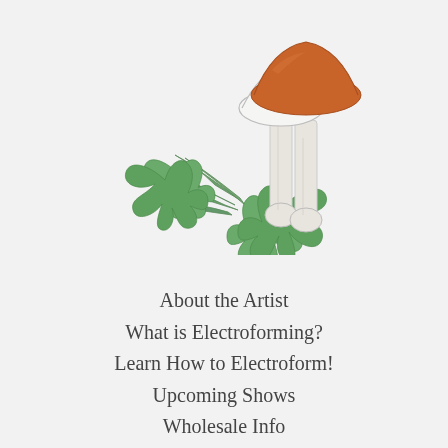[Figure (illustration): Line illustration of two mushrooms with an orange/brown cap on the taller one, surrounded by green foliage leaves, on a light gray background]
About the Artist
What is Electroforming?
Learn How to Electroform!
Upcoming Shows
Wholesale Info
Stockists
Customer Service &
Frequently Asked Questions
Happy Customers
Custom Wedding Jewelry
Custom Designs